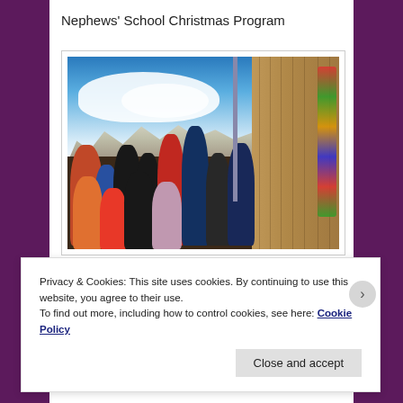Nephews' School Christmas Program
[Figure (photo): A blurred photo of children and adults at a school Christmas program. There is a painted backdrop showing mountains and blue sky, a wooden wall on the right with Christmas decorations, and groups of students and adults standing in front. The scene appears to be in a school gymnasium or auditorium.]
Privacy & Cookies: This site uses cookies. By continuing to use this website, you agree to their use.
To find out more, including how to control cookies, see here: Cookie Policy
Close and accept